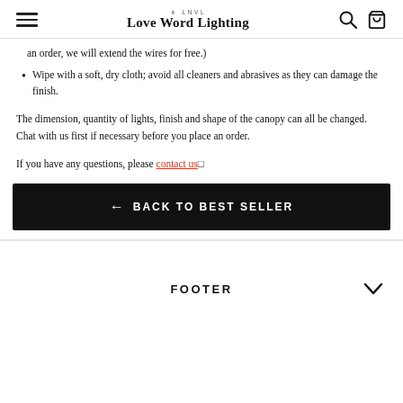Love Word Lighting
an order, we will extend the wires for free.)
Wipe with a soft, dry cloth; avoid all cleaners and abrasives as they can damage the finish.
The dimension, quantity of lights, finish and shape of the canopy can all be changed. Chat with us first if necessary before you place an order.
If you have any questions, please contact us
← BACK TO BEST SELLER
FOOTER